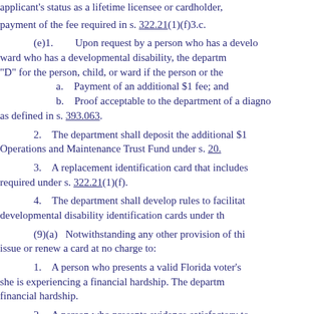applicant's status as a lifetime licensee or cardholder, payment of the fee required in s. 322.21(1)(f)3.c.
(e)1.   Upon request by a person who has a developmental disability or who is the parent or guardian of a child or ward who has a developmental disability, the department shall place a designation of "D" for the person, child, or ward if the person or the
a.   Payment of an additional $1 fee; and
b.   Proof acceptable to the department of a diagnosis as defined in s. 393.063.
2.   The department shall deposit the additional $1 fee into the Operations and Maintenance Trust Fund under s. 20.
3.   A replacement identification card that includes the designation is required under s. 322.21(1)(f).
4.   The department shall develop rules to facilitate issuance of developmental disability identification cards under this paragraph.
(9)(a)   Notwithstanding any other provision of this section, shall issue or renew a card at no charge to:
1.   A person who presents a valid Florida voter's registration who she is experiencing a financial hardship. The department shall define financial hardship.
2.   A person who presents evidence satisfactory to 414.0252(7).
3.   A juvenile offender who is in the custody or under supervision and receiving services pursuant to s. 985.461.